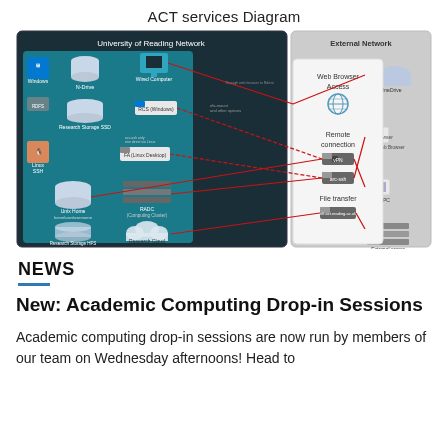ACT services Diagram
[Figure (network-graph): ACT services diagram showing University of Reading Network (left dark panel) containing icons for Windows, N-Drive, Wired Computer, RDFS, Research Storage SSD, RCS (Windows), Linux SSH, FA (Linux Desktop), Unix Home, RADC Computing Cluster, Research Storage HFS Storage, Research Cloud. Connected to a middle panel showing Web Browser Access (globe icon), Remote connection (vPN, arc-ssh), and File transfer (nfr.act.reading.ac.uk). Right grey panel labeled External Network shows OneDrive, Web Browser, Home PC, External server. Red arrows show connections between components.]
NEWS
New: Academic Computing Drop-in Sessions
Academic computing drop-in sessions are now run by members of our team on Wednesday afternoons! Head to